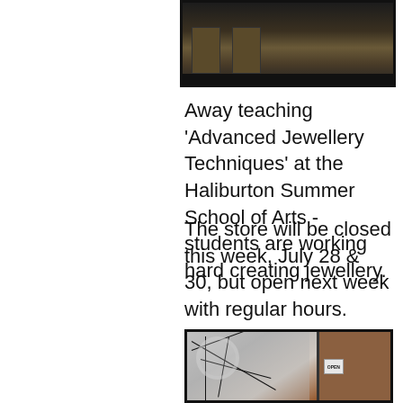[Figure (photo): Top portion of a photo showing what appears to be a workshop or studio interior with wooden furniture and chairs, partially cropped at the top of the page.]
Away teaching 'Advanced Jewellery Techniques' at the Haliburton Summer School of Arts - students are working hard creating jewellery.
The store will be closed this week, July 28 & 30, but open next week with regular hours.
[Figure (photo): Photo of a store entrance featuring a decorative geometric stained glass window panel with a white floral wreath hung on it, alongside a wooden door with an OPEN sign visible on the glass.]